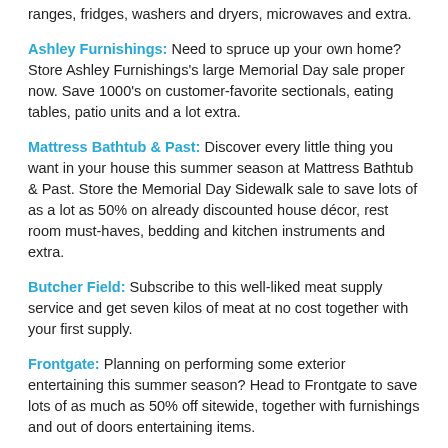ranges, fridges, washers and dryers, microwaves and extra.
Ashley Furnishings: Need to spruce up your own home? Store Ashley Furnishings's large Memorial Day sale proper now. Save 1000's on customer-favorite sectionals, eating tables, patio units and a lot extra.
Mattress Bathtub & Past: Discover every little thing you want in your house this summer season at Mattress Bathtub & Past. Store the Memorial Day Sidewalk sale to save lots of as a lot as 50% on already discounted house décor, rest room must-haves, bedding and kitchen instruments and extra.
Butcher Field: Subscribe to this well-liked meat supply service and get seven kilos of meat at no cost together with your first supply.
Frontgate: Planning on performing some exterior entertaining this summer season? Head to Frontgate to save lots of as much as 50% off sitewide, together with furnishings and out of doors entertaining items.
Harry & David: Ship some treats to your family and friends with a present basket from Harry & David. Store the Memorial Day Financial savings